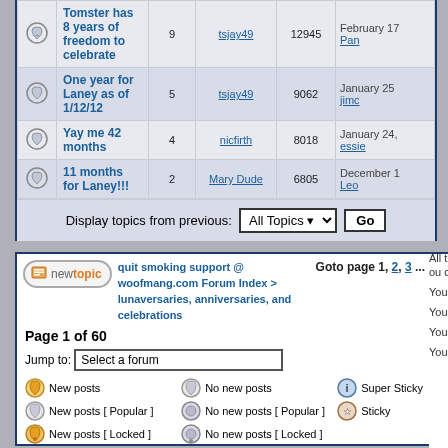|  | Topic | Replies | Author | Views | Last Post |
| --- | --- | --- | --- | --- | --- |
|  | Tomster has 8 years of freedom to celebrate | 9 | tsjay49 | 12945 | February 17 Pan... |
|  | One year for Laney as of 1/12/12 | 5 | tsjay49 | 9062 | January 25 jimc... |
|  | Yay me 42 months | 4 | nicfirth | 8018 | January 24, essie... |
|  | 11 months for Laney!!! | 2 | Mary Dude | 6805 | December 1 Leo... |
Display topics from previous: All Topics  Go
quit smoking support @ woofmang.com Forum Index > lunaversaries, anniversaries, and celebrations
Goto page 1, 2, 3 ...
Page 1 of 60
Jump to: Select a forum
New posts
No new posts
Super Sticky
New posts [ Popular ]
No new posts [ Popular ]
Sticky
New posts [ Locked ]
No new posts [ Locked ]
You cannot ...  You cannot ...  You cann...  You canno...  You cannot...